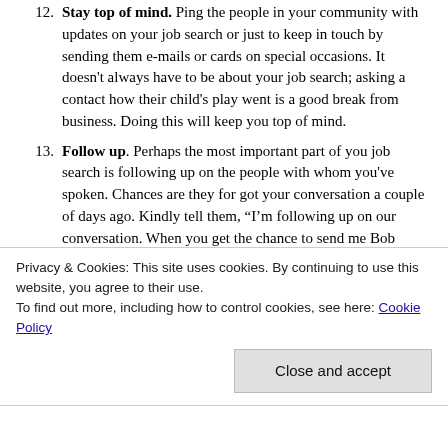12. Stay top of mind. Ping the people in your community with updates on your job search or just to keep in touch by sending them e-mails or cards on special occasions. It doesn't always have to be about your job search; asking a contact how their child's play went is a good break from business. Doing this will keep you top of mind.
13. Follow up. Perhaps the most important part of you job search is following up on the people with whom you've spoken. Chances are they for got your conversation a couple of days ago. Kindly tell them, “I’m following up on our conversation. When you get the chance to send me Bob McIntosh’s contact information, I would appreciate it
Privacy & Cookies: This site uses cookies. By continuing to use this website, you agree to their use.
To find out more, including how to control cookies, see here: Cookie Policy
Close and accept